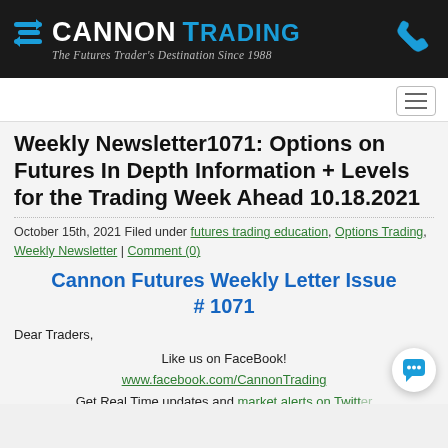Cannon Trading — The Futures Trader's Destination Since 1988
Weekly Newsletter1071: Options on Futures In Depth Information + Levels for the Trading Week Ahead 10.18.2021
October 15th, 2021 Filed under futures trading education, Options Trading, Weekly Newsletter | Comment (0)
Cannon Futures Weekly Letter Issue # 1071
Dear Traders,
Like us on FaceBook! www.facebook.com/CannonTrading Get Real Time updates and market alerts on Twitter